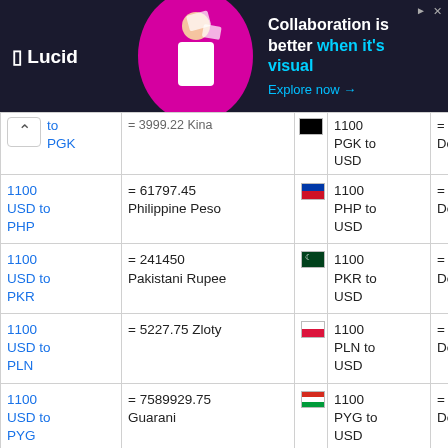[Figure (other): Lucid advertisement banner: 'Collaboration is better when it's visual' with Explore now link]
| From | Conversion | Flag | Pair | Reverse |
| --- | --- | --- | --- | --- |
| to PGK | = 3999.22 Kina (partial) |  | 1100 PGK to USD | = 310.00 US Dollars (partial) |
| 1100 USD to PHP | = 61797.45 Philippine Peso | 🇵🇭 | 1100 PHP to USD | = 19.58 US Dollars |
| 1100 USD to PKR | = 241450 Pakistani Rupee | 🇵🇰 | 1100 PKR to USD | = 5.01 US Dollars |
| 1100 USD to PLN | = 5227.75 Zloty | 🇵🇱 | 1100 PLN to USD | = 231.46 US Dollars |
| 1100 USD to PYG | = 7589929.75 Guarani | 🇵🇾 | 1100 PYG to USD | = 0.16 US Dollars |